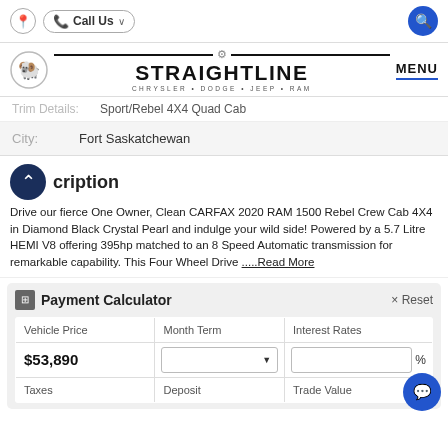Call Us   [search icon]
[Figure (logo): Straightline Chrysler Dodge Jeep Ram dealership logo with RAM head icon and MENU button]
Trim Details: Sport/Rebel 4x4 Quad Cab
| City: | Fort Saskatchewan |
| --- | --- |
Description
Drive our fierce One Owner, Clean CARFAX 2020 RAM 1500 Rebel Crew Cab 4X4 in Diamond Black Crystal Pearl and indulge your wild side! Powered by a 5.7 Litre HEMI V8 offering 395hp matched to an 8 Speed Automatic transmission for remarkable capability. This Four Wheel Drive .....Read More
| Vehicle Price | Month Term | Interest Rates |
| --- | --- | --- |
| $53,890 | [dropdown] | [input] % |
| Taxes | Deposit | Trade Value |